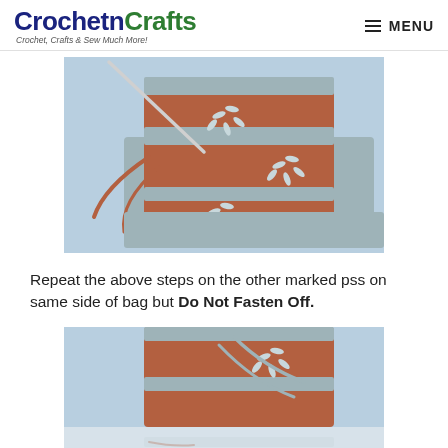CrochetnCrafts — Crochet, Crafts & Sew Much More! — MENU
[Figure (photo): Close-up photo of crochet work in progress showing rust/terracotta and gray yarn with daisy-like flower stitches on a light blue background, with a crochet hook visible]
Repeat the above steps on the other marked pss on same side of bag but Do Not Fasten Off.
[Figure (photo): Close-up photo of crochet work in progress showing rust/terracotta and gray yarn with daisy flower stitches, partially cut off at the bottom, with yarn tails visible]